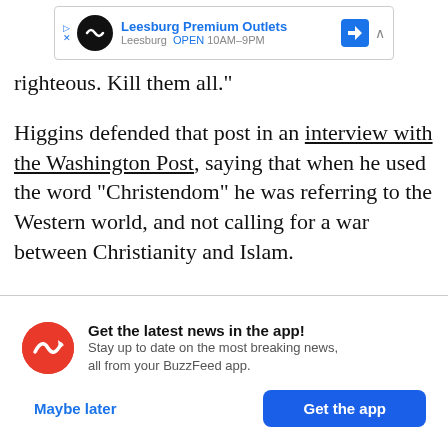[Figure (screenshot): Mobile advertisement banner for Leesburg Premium Outlets showing logo, name, open hours 10AM-9PM, blue navigation arrow icon, and close button]
righteous. Kill them all."
Higgins defended that post in an interview with the Washington Post, saying that when he used the word "Christendom" he was referring to the Western world, and not calling for a war between Christianity and Islam.
[Figure (infographic): BuzzFeed app notification card with red circular logo with white arrow, title 'Get the latest news in the app!', body text 'Stay up to date on the most breaking news, all from your BuzzFeed app.', 'Maybe later' link and 'Get the app' blue button]